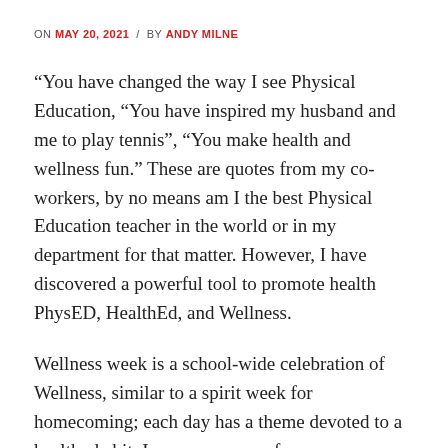ON MAY 20, 2021 / BY ANDY MILNE
“You have changed the way I see Physical Education, “You have inspired my husband and me to play tennis”, “You make health and wellness fun.” These are quotes from my co-workers, by no means am I the best Physical Education teacher in the world or in my department for that matter. However, I have discovered a powerful tool to promote health PhysED, HealthEd, and Wellness.
Wellness week is a school-wide celebration of Wellness, similar to a spirit week for homecoming; each day has a theme devoted to a healthy habit. I am sure many of you